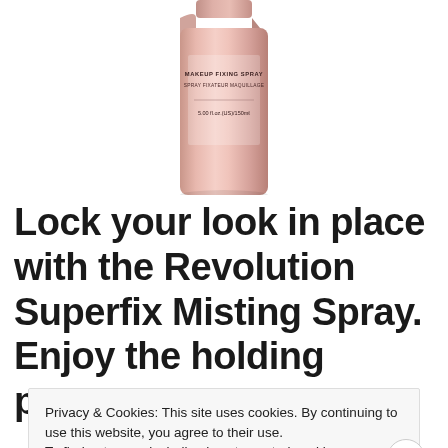[Figure (photo): Partial view of a rose-gold/pink makeup fixing spray bottle showing label text 'MAKEUP FIXING SPRAY / SPRAY FIXATEUR MAQUILLAGE / 5.00 fl.oz.(US)/150mL']
Lock your look in place with the Revolution Superfix Misting Spray. Enjoy the holding power
Privacy & Cookies: This site uses cookies. By continuing to use this website, you agree to their use.
To find out more, including how to control cookies, see here: Cookie Policy
Close and accept